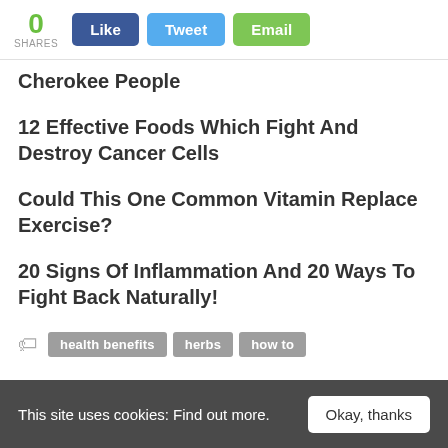0 SHARES | Like | Tweet | Email
Cherokee People
12 Effective Foods Which Fight And Destroy Cancer Cells
Could This One Common Vitamin Replace Exercise?
20 Signs Of Inflammation And 20 Ways To Fight Back Naturally!
health benefits  herbs  how to
This site uses cookies: Find out more.  Okay, thanks